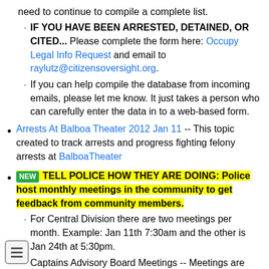need to continue to compile a complete list.
IF YOU HAVE BEEN ARRESTED, DETAINED, OR CITED... Please complete the form here: Occupy Legal Info Request and email to raylutz@citizensoversight.org.
If you can help compile the database from incoming emails, please let me know. It just takes a person who can carefully enter the data in to a web-based form.
Arrests At Balboa Theater 2012 Jan 11 -- This topic created to track arrests and progress fighting felony arrests at BalboaTheater
NEW TELL POLICE HOW THEY ARE DOING: Police host monthly meetings in the community to get feedback from community members.
For Central Division there are two meetings per month. Example: Jan 11th 7:30am and the other is Jan 24th at 5:30pm.
Captains Advisory Board Meetings -- Meetings are held every 4th Tuesday of every other month